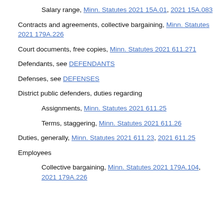Salary range, Minn. Statutes 2021 15A.01, 2021 15A.083
Contracts and agreements, collective bargaining, Minn. Statutes 2021 179A.226
Court documents, free copies, Minn. Statutes 2021 611.271
Defendants, see DEFENDANTS
Defenses, see DEFENSES
District public defenders, duties regarding
Assignments, Minn. Statutes 2021 611.25
Terms, staggering, Minn. Statutes 2021 611.26
Duties, generally, Minn. Statutes 2021 611.23, 2021 611.25
Employees
Collective bargaining, Minn. Statutes 2021 179A.104, 2021 179A.226